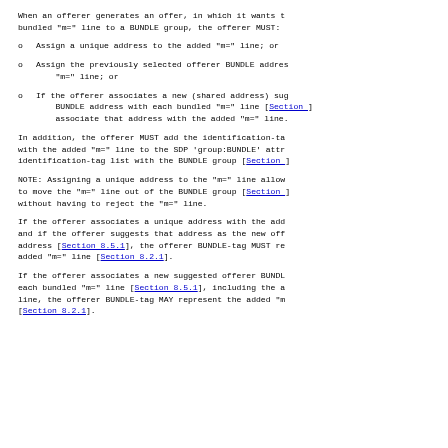When an offerer generates an offer, in which it wants t bundled "m=" line to a BUNDLE group, the offerer MUST:
Assign a unique address to the added "m=" line; or
Assign the previously selected offerer BUNDLE addres "m=" line; or
If the offerer associates a new (shared address) sug BUNDLE address with each bundled "m=" line [Section ...] associate that address with the added "m=" line.
In addition, the offerer MUST add the identification-ta with the added "m=" line to the SDP 'group:BUNDLE' attr identification-tag list with the BUNDLE group [Section ...]
NOTE: Assigning a unique address to the "m=" line allow to move the "m=" line out of the BUNDLE group [Section ...] without having to reject the "m=" line.
If the offerer associates a unique address with the add and if the offerer suggests that address as the new off address [Section 8.5.1], the offerer BUNDLE-tag MUST re added "m=" line [Section 8.2.1].
If the offerer associates a new suggested offerer BUNDL each bundled "m=" line [Section 8.5.1], including the a line, the offerer BUNDLE-tag MAY represent the added "m [Section 8.2.1].